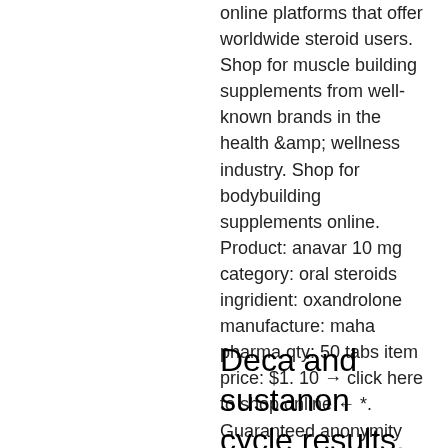online platforms that offer worldwide steroid users. Shop for muscle building supplements from well-known brands in the health &amp; wellness industry. Shop for bodybuilding supplements online. Product: anavar 10 mg category: oral steroids ingridient: oxandrolone manufacture: maha pharma qty: 50 tabs item price: $1. 10 → click here to shop online ← *. Guaranteed anonymity with online steroid store. Safe gp oxan (anavar) deals from most secure testosterone online-shop from the manufacturer. Showing all 5 results. Default sorting, sort by popularity, sort by average rating, sort by newness, sort by price: low to high
Deca and sustanon cycle results, testosterone gel hair